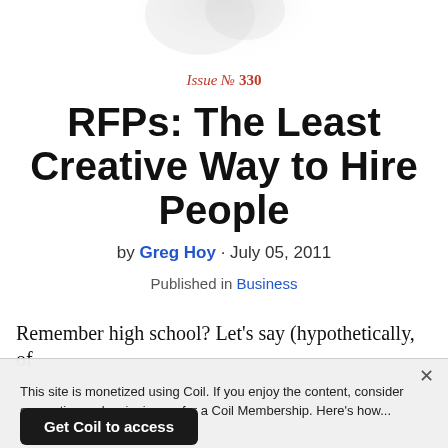[Figure (illustration): Decorative watermark or background image at the top of the page, partially visible, light gray tones.]
Issue № 330
RFPs: The Least Creative Way to Hire People
by Greg Hoy · July 05, 2011
Published in Business
Remember high school? Let's say (hypothetically, of
This site is monetized using Coil. If you enjoy the content, consider supporting us by signing up for a Coil Membership. Here's how...
Get Coil to access